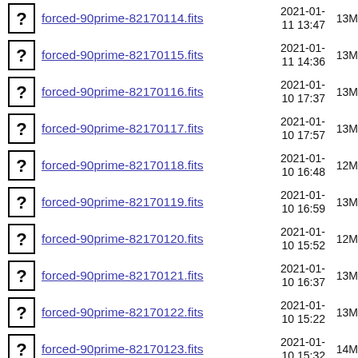forced-90prime-82170114.fits  2021-01-11 13:47  13M
forced-90prime-82170115.fits  2021-01-11 14:36  13M
forced-90prime-82170116.fits  2021-01-10 17:37  13M
forced-90prime-82170117.fits  2021-01-10 17:57  13M
forced-90prime-82170118.fits  2021-01-10 16:48  12M
forced-90prime-82170119.fits  2021-01-10 16:59  13M
forced-90prime-82170120.fits  2021-01-10 15:52  12M
forced-90prime-82170121.fits  2021-01-10 16:37  13M
forced-90prime-82170122.fits  2021-01-10 15:22  13M
forced-90prime-82170123.fits  2021-01-10 15:32  14M
forced-90prime-82170124.fits  2021-01-10 15:01  13M
forced-90prime-82170128.fits  2021-01-  14M